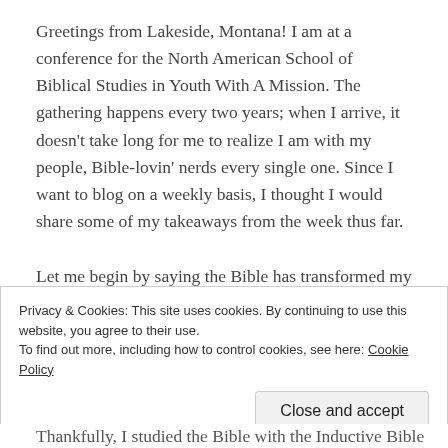Greetings from Lakeside, Montana! I am at a conference for the North American School of Biblical Studies in Youth With A Mission. The gathering happens every two years; when I arrive, it doesn't take long for me to realize I am with my people, Bible-lovin' nerds every single one. Since I want to blog on a weekly basis, I thought I would share some of my takeaways from the week thus far.
Let me begin by saying the Bible has transformed my life. Yes, it's been a bit like steering the Titanic but the
Privacy & Cookies: This site uses cookies. By continuing to use this website, you agree to their use. To find out more, including how to control cookies, see here: Cookie Policy
Close and accept
Thankfully, I studied the Bible with the Inductive Bible